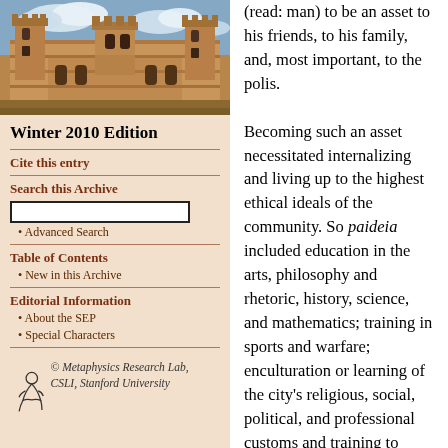[Figure (photo): Photograph of a historic stone university building with Gothic architecture under a partly cloudy sky]
Winter 2010 Edition
Cite this entry
Search this Archive
Advanced Search
Table of Contents
New in this Archive
Editorial Information
About the SEP
Special Characters
© Metaphysics Research Lab, CSLI, Stanford University
(read: man) to be an asset to his friends, to his family, and, most important, to the polis.

Becoming such an asset necessitated internalizing and living up to the highest ethical ideals of the community. So paideia included education in the arts, philosophy and rhetoric, history, science, and mathematics; training in sports and warfare; enculturation or learning of the city's religious, social, political, and professional customs and training to participate in them; and the development of one's moral character through the virtues. Above all, the person should have a keen sense of